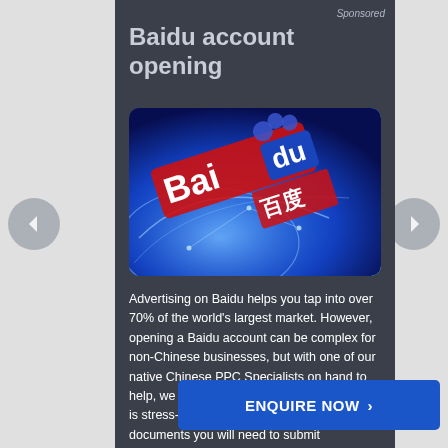Sponsored
Baidu account opening
[Figure (logo): Baidu logo with globe and network background — red and blue diagonal logo text on a blue glowing earth graphic]
Advertising on Baidu helps you tap into over 70% of the world's largest market. However, opening a Baidu account can be complex for non-Chinese businesses, but with one of our native Chinese PPC Specialists on hand to help, we will ensure your application process is stress-free, providing advice on the type of documents you will need to submit translation of (where required), acc cost of advertising on Baidu. You will...